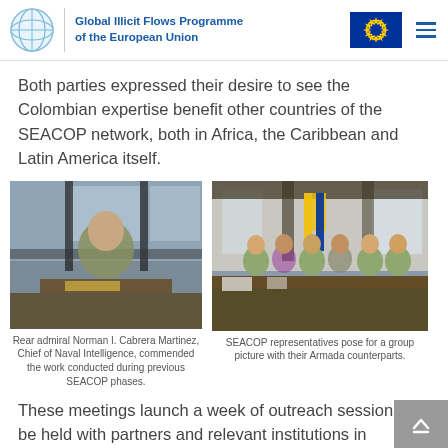Global Illicit Flows Programme of the European Union
Both parties expressed their desire to see the Colombian expertise benefit other countries of the SEACOP network, both in Africa, the Caribbean and Latin America itself.
[Figure (photo): Rear admiral Norman I. Cabrera Martinez seated at a desk in military camouflage uniform]
Rear admiral Norman I. Cabrera Martinez, Chief of Naval Intelligence, commended the work conducted during previous SEACOP phases.
[Figure (photo): SEACOP representatives posing for a group picture with their Armada counterparts in an office with flags]
SEACOP representatives pose for a group picture with their Armada counterparts.
These meetings launch a week of outreach sessions to be held with partners and relevant institutions in Colombia.